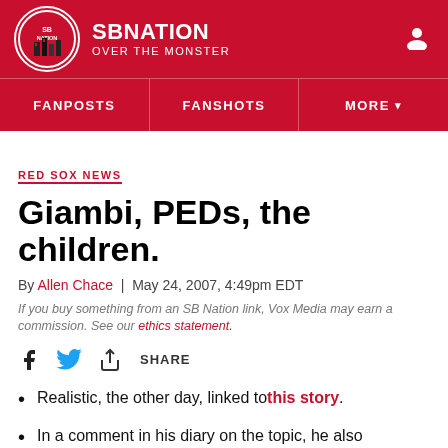[Figure (logo): SB Nation Over The Monster website header with red background, circular logo, site name, and user icon]
FANPOSTS | FANSHOTS | MORE
RED SOX NEWS
Giambi, PEDs, the children.
By Allen Chace | May 24, 2007, 4:49pm EDT
If you buy something from an SB Nation link, Vox Media may earn a commission. See our ethics statement.
[Figure (other): Social share bar with Facebook, Twitter, and share icons with SHARE label]
Realistic, the other day, linked to this story.
In a comment in his diary on the topic, he also